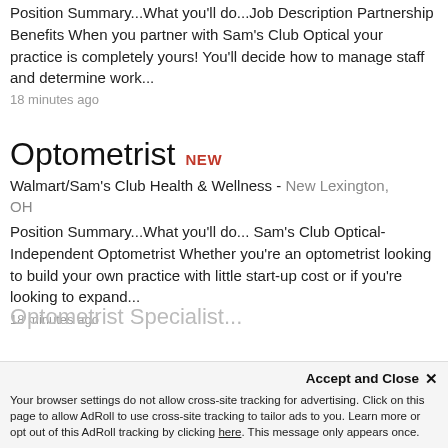Position Summary...What you'll do...Job Description Partnership Benefits When you partner with Sam's Club Optical your practice is completely yours! You'll decide how to manage staff and determine work...
18 minutes ago
Optometrist NEW
Walmart/Sam's Club Health & Wellness - New Lexington, OH
Position Summary...What you'll do... Sam's Club Optical-Independent Optometrist Whether you're an optometrist looking to build your own practice with little start-up cost or if you're looking to expand...
18 minutes ago
Optometrist Specialist...
Accept and Close ×
Your browser settings do not allow cross-site tracking for advertising. Click on this page to allow AdRoll to use cross-site tracking to tailor ads to you. Learn more or opt out of this AdRoll tracking by clicking here. This message only appears once.